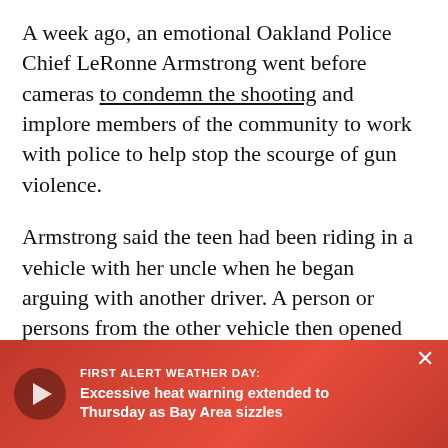A week ago, an emotional Oakland Police Chief LeRonne Armstrong went before cameras to condemn the shooting and implore members of the community to work with police to help stop the scourge of gun violence.
Armstrong said the teen had been riding in a vehicle with her uncle when he began arguing with another driver. A person or persons from the other vehicle then opened fire with a fusillade of bullets, hitting the girl with multiple rounds.
"Everybody in this city should be hurt," said Armstrong. "I hope that everybody in this city wakes up and understands [obscured] bring before the pu[obscured] to cry out for help?[obscured]
[Figure (infographic): Breaking news overlay bar in red gradient with play button circle. Text: 'FIRST ALERT WEATHER DAY: Excessive heat warning extended to Thursday as Bay Area sizzles']